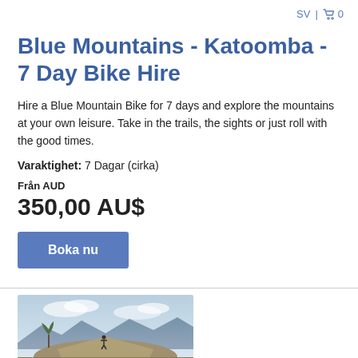SV | 🛒 0
Blue Mountains - Katoomba - 7 Day Bike Hire
Hire a Blue Mountain Bike for 7 days and explore the mountains at your own leisure. Take in the trails, the sights or just roll with the good times.
Varaktighet: 7 Dagar (cirka)
Från AUD
350,00 AU$
Boka nu
[Figure (photo): Outdoor mountain landscape photo showing a person standing on a rocky hilltop with arms raised, sparse tree to the left, mountain ranges visible in the background under a cloudy sky.]